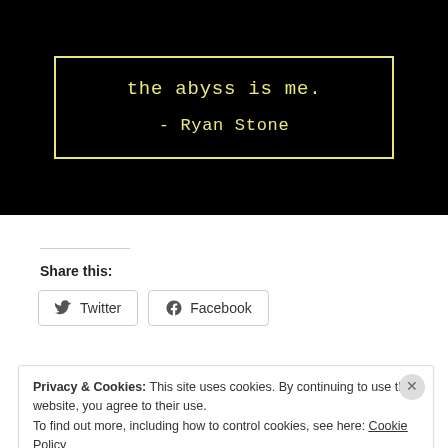[Figure (illustration): Black background image with yellow-bordered box containing quote text 'the abyss is me.' and attribution '- Ryan Stone' in yellow monospace font]
Share this:
Twitter  Facebook
Privacy & Cookies: This site uses cookies. By continuing to use this website, you agree to their use.
To find out more, including how to control cookies, see here: Cookie Policy
Close and accept